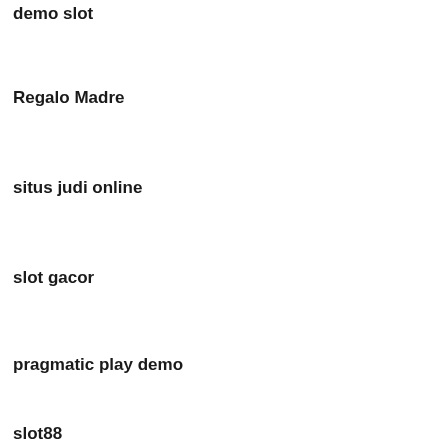demo slot
Regalo Madre
situs judi online
slot gacor
pragmatic play demo
slot88